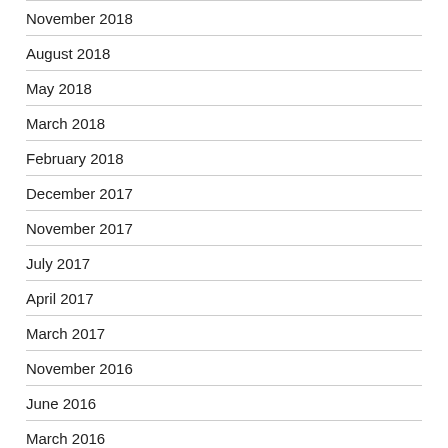November 2018
August 2018
May 2018
March 2018
February 2018
December 2017
November 2017
July 2017
April 2017
March 2017
November 2016
June 2016
March 2016